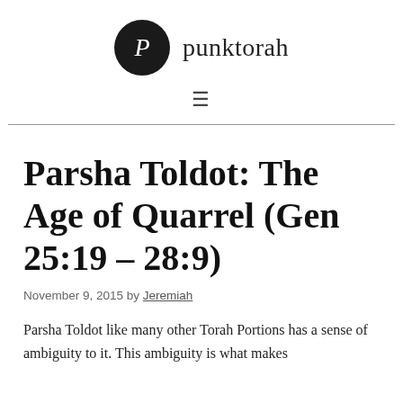P punktorah
Parsha Toldot: The Age of Quarrel (Gen 25:19 – 28:9)
November 9, 2015 by Jeremiah
Parsha Toldot like many other Torah Portions has a sense of ambiguity to it. This ambiguity is what makes